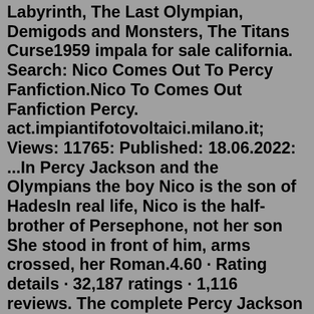Labyrinth, The Last Olympian, Demigods and Monsters, The Titans Curse1959 impala for sale california. Search: Nico Comes Out To Percy Fanfiction.Nico To Comes Out Fanfiction Percy. act.impiantifotovoltaici.milano.it; Views: 11765: Published: 18.06.2022: ...In Percy Jackson and the Olympians the boy Nico is the son of HadesIn real life, Nico is the half-brother of Persephone, not her son She stood in front of him, arms crossed, her Roman.4.60 · Rating details · 32,187 ratings · 1,116 reviews. The complete Percy Jackson & the Olympians series in hardcover, packaged in a gorgeous, reclosable “steamer trunk” fit for demigods. This perfect gift for Percy fans boasts a hidden compartment containing an exclusive Camp Half-Blood map and stickers. Percy Jackson: The Complete Series includes all five novels in the action-packed, electrifying series from Rick Riordan: The Lightning Thief, The Sea of Monsters, The Titan's Curse, The Battle of the Labyrinth, and The Last Olympian.I loved the Percy Jackson books! I tried